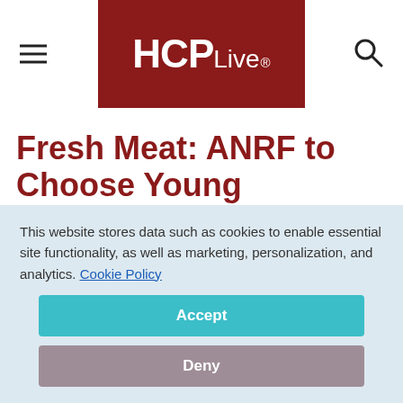HCPLive®
Fresh Meat: ANRF to Choose Young Researchers to Fund
March 21, 2011
[Figure (illustration): Social media share icons row: Facebook (dark blue), Twitter (light blue), LinkedIn (teal/dark blue), Pinterest (red), and a gray share icon]
This website stores data such as cookies to enable essential site functionality, as well as marketing, personalization, and analytics. Cookie Policy
[Figure (other): Accept button (teal) and Deny button (mauve/gray) for cookie consent overlay]